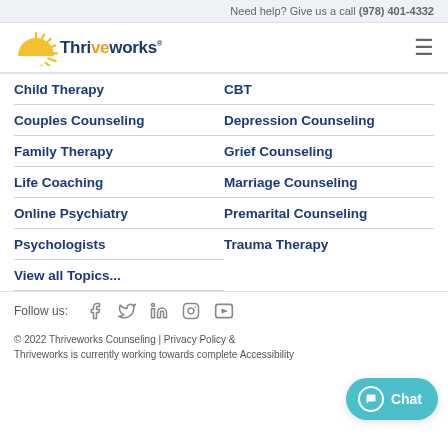Need help? Give us a call (978) 401-4332
[Figure (logo): Thriveworks logo with sun/rays icon and text]
Child Therapy
CBT
Couples Counseling
Depression Counseling
Family Therapy
Grief Counseling
Life Coaching
Marriage Counseling
Online Psychiatry
Premarital Counseling
Psychologists
Trauma Therapy
View all Topics...
Follow us:
© 2022 Thriveworks Counseling | Privacy Policy & Thriveworks is currently working towards complete Accessibility